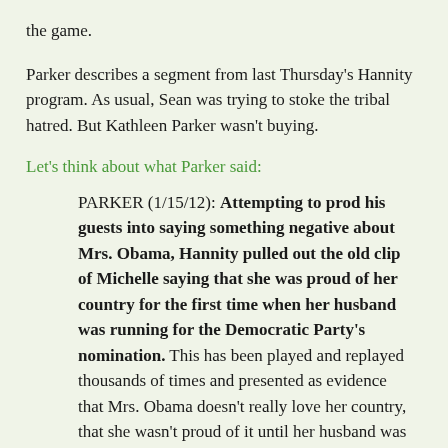the game.
Parker describes a segment from last Thursday’s Hannity program. As usual, Sean was trying to stoke the tribal hatred. But Kathleen Parker wasn’t buying.
Let’s think about what Parker said:
PARKER (1/15/12): Attempting to prod his guests into saying something negative about Mrs. Obama, Hannity pulled out the old clip of Michelle saying that she was proud of her country for the first time when her husband was running for the Democratic Party’s nomination. This has been played and replayed thousands of times and presented as evidence that Mrs. Obama doesn’t really love her country, that she wasn’t proud of it until her husband was running for president. So what?
These perhaps were not the best words for a future first lady, but I have no trouble understanding how she felt in that moment. It may be easy for fortunate